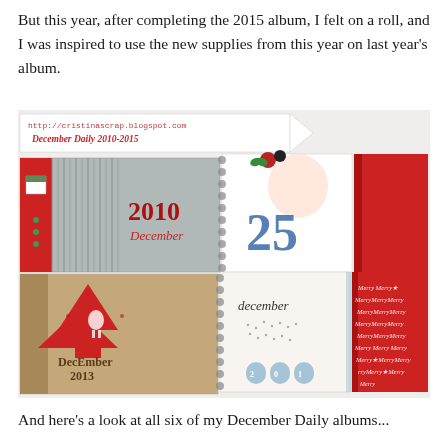But this year, after completing the 2015 album, I felt on a roll, and I was inspired to use the new supplies from this year on last year's album.
[Figure (photo): Photo showing six December Daily scrapbook albums from 2010-2015 arranged together. The image has a banner reading 'http://cristinascrap.blogspot.com December Daily 2010-2015'. Albums include a 2010 silver/red album, a 2013 kraft/red album, albums numbered 25 and 2014 with spiral binding, a plain red album, and a red 'Merry Merry' album.]
And here's a look at all six of my December Daily albums...